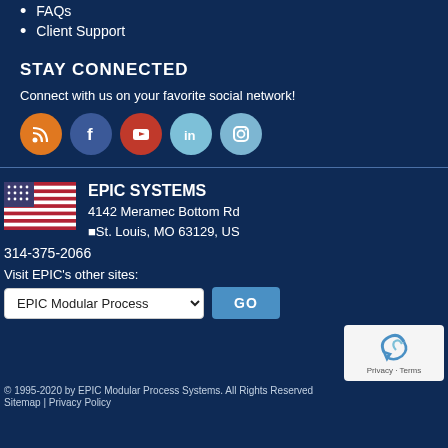FAQs
Client Support
STAY CONNECTED
Connect with us on your favorite social network!
[Figure (illustration): Social media icons: RSS (orange), Facebook (blue), YouTube (red), LinkedIn (light blue), Instagram (light blue)]
[Figure (logo): American flag icon]
EPIC SYSTEMS
4142 Meramec Bottom Rd
■St. Louis, MO 63129, US
314-375-2066
Visit EPIC's other sites:
EPIC Modular Process
GO
[Figure (illustration): reCAPTCHA badge showing Privacy and Terms]
© 1995-2020 by EPIC Modular Process Systems. All Rights Reserved
Sitemap | Privacy Policy